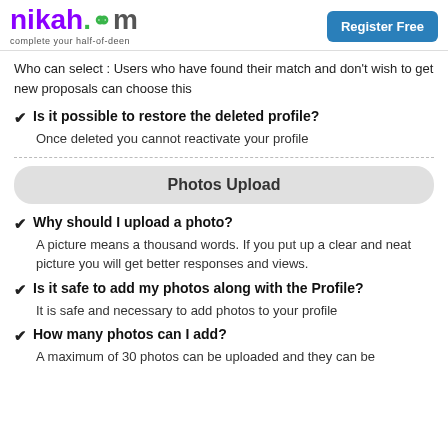nikah.com complete your half-of-deen | Register Free
Who can select : Users who have found their match and don't wish to get new proposals can choose this
Is it possible to restore the deleted profile?
Once deleted you cannot reactivate your profile
Photos Upload
Why should I upload a photo?
A picture means a thousand words. If you put up a clear and neat picture you will get better responses and views.
Is it safe to add my photos along with the Profile?
It is safe and necessary to add photos to your profile
How many photos can I add?
A maximum of 30 photos can be uploaded and they can be